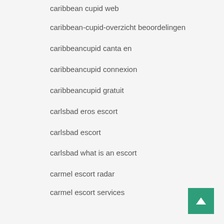caribbean cupid web
caribbean-cupid-overzicht beoordelingen
caribbeancupid canta en
caribbeancupid connexion
caribbeancupid gratuit
carlsbad eros escort
carlsbad escort
carlsbad what is an escort
carmel escort radar
carmel escort services
carolinapaydayloans.org payday loans no credit check
carrollton escort index
carrollton escort services